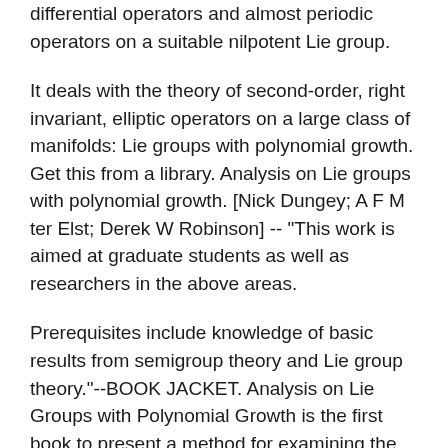differential operators and almost periodic operators on a suitable nilpotent Lie group.
It deals with the theory of second-order, right invariant, elliptic operators on a large class of manifolds: Lie groups with polynomial growth. Get this from a library. Analysis on Lie groups with polynomial growth. [Nick Dungey; A F M ter Elst; Derek W Robinson] -- "This work is aimed at graduate students as well as researchers in the above areas.
Prerequisites include knowledge of basic results from semigroup theory and Lie group theory."--BOOK JACKET. Analysis on Lie Groups with Polynomial Growth is the first book to present a method for examining the surprising connection between invariant differential operators and almost periodic operators on a suitable nilpotent Lie group.
It deals with the theory of second-order, right invariant, elliptic operators on a Analysis on Lie Groups with Polynomial Growth book class of manifolds: Lie groups